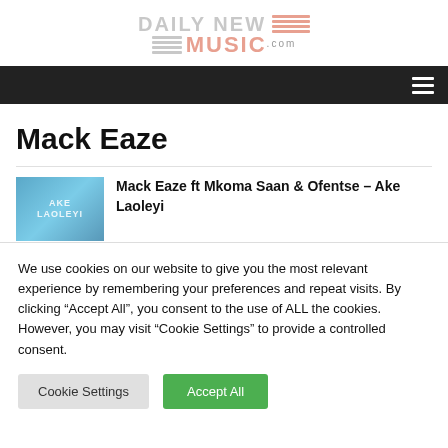DAILY NEW MUSIC .com
Mack Eaze
Mack Eaze ft Mkoma Saan & Ofentse – Ake Laoleyi
We use cookies on our website to give you the most relevant experience by remembering your preferences and repeat visits. By clicking "Accept All", you consent to the use of ALL the cookies. However, you may visit "Cookie Settings" to provide a controlled consent.
Cookie Settings   Accept All